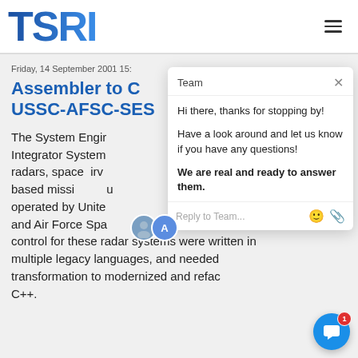[Figure (logo): TSRI logo in blue gradient text with hamburger menu icon on right]
Friday, 14 September 2001 15:…
Assembler to C… USSC-AFSC-SES…
The System Engir… Integrator System… radars, space surv… based missi… operated by Unite… and Air Force Spa… control for these radar systems were written in multiple legacy languages, and needed transformation to modernized and refact… C++.
[Figure (screenshot): Chat popup overlay with Team label, greeting messages, reply input, and agent avatars. Also intercom chat bubble with badge.]